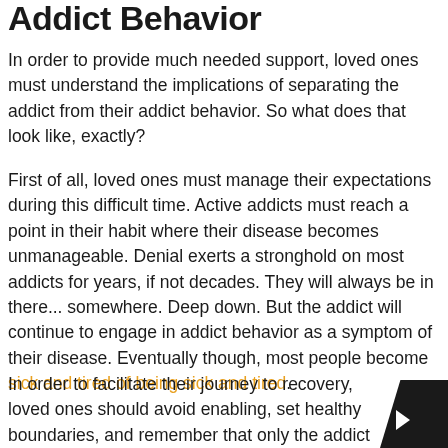Addict Behavior
In order to provide much needed support, loved ones must understand the implications of separating the addict from their addict behavior. So what does that look like, exactly?
First of all, loved ones must manage their expectations during this difficult time. Active addicts must reach a point in their habit where their disease becomes unmanageable. Denial exerts a stronghold on most addicts for years, if not decades. They will always be in there... somewhere. Deep down. But the addict will continue to engage in addict behavior as a symptom of their disease. Eventually though, most people become sick and tired of being sick and tired.
In order to facilitate their journey to recovery, loved ones should avoid enabling, set healthy boundaries, and remember that only the addict themselves can make t...